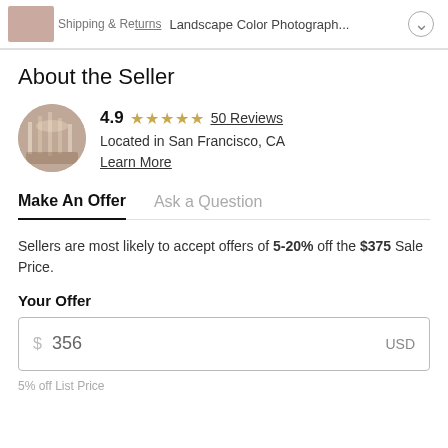Shipping & Returns  Landscape Color Photograph...
About the Seller
[Figure (photo): Circular seller avatar photo showing an interior space with lights]
4.9 ★★★★★ 50 Reviews
Located in San Francisco, CA
Learn More
Make An Offer   Ask a Question
Sellers are most likely to accept offers of 5-20% off the $375 Sale Price.
Your Offer
$ 356   USD
5% off List Price